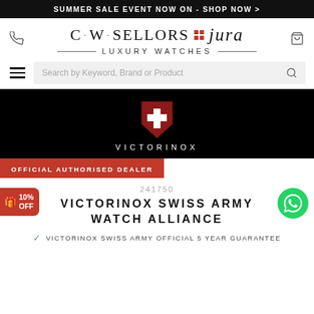SUMMER SALE EVENT NOW ON - SHOP NOW >
[Figure (logo): C.W. Sellors Jura Luxury Watches logo with decorative dots and horizontal lines]
Search by Keyword, Brand or Product
[Figure (logo): Victorinox shield logo and brand name in white text on black background]
OFFICIAL AUTHORISED DEALER
241750
VICTORINOX SWISS ARMY WATCH ALLIANCE
VICTORINOX SWISS ARMY OFFICIAL 5 YEAR GUARANTEE
10% OFF